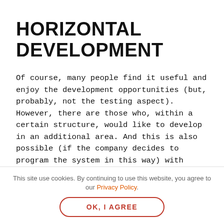HORIZONTAL DEVELOPMENT
Of course, many people find it useful and enjoy the development opportunities (but, probably, not the testing aspect). However, there are those who, within a certain structure, would like to develop in an additional area. And this is also possible (if the company decides to program the system in this way) with SuccessFactors. The employee has the opportunity to search for and benefit from training in
[Figure (logo): Orange circular chat/comment icon logo]
This site use cookies. By continuing to use this website, you agree to our Privacy Policy.
OK, I AGREE